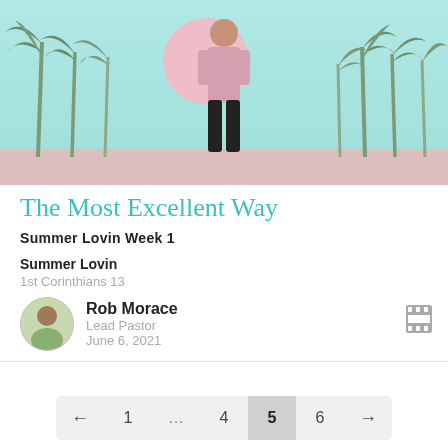[Figure (photo): Sermon series banner image showing a person in a pink shirt standing against a stylized teal/mint background with palm trees and a large pink sun circle. Sandy ground at the bottom.]
The Most Excellent Way
Summer Lovin Week 1
Summer Lovin
1st Corinthians 13
Rob Morace
Lead Pastor
June 6, 2021
← 1 … 4 5 6 →